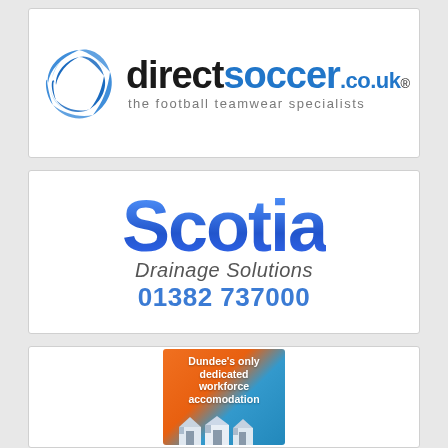[Figure (logo): DirectSoccer.co.uk logo with blue spiral football icon, bold text 'directsoccer.co.uk®' and tagline 'the football teamwear specialists']
[Figure (logo): Scotia Drainage Solutions logo with large blue gradient 'Scotia' text, italic 'Drainage Solutions' subtitle, and phone number '01382 737000']
[Figure (illustration): Dundee's only dedicated workforce accomodation advertisement with orange and blue background and house illustration]